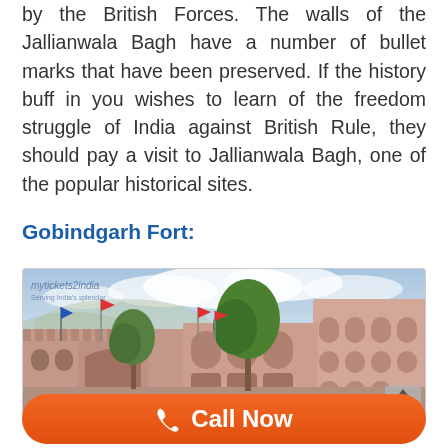by the British Forces. The walls of the Jallianwala Bagh have a number of bullet marks that have been preserved. If the history buff in you wishes to learn of the freedom struggle of India against British Rule, they should pay a visit to Jallianwala Bagh, one of the popular historical sites.
Gobindgarh Fort:
[Figure (photo): Panoramic view of Gobindgarh Fort showing pink/red sandstone walls, arched structures, trees in foreground, flags, and cloudy sky. Watermark reads 'mytickets2india' in top left corner.]
📞 Call Now